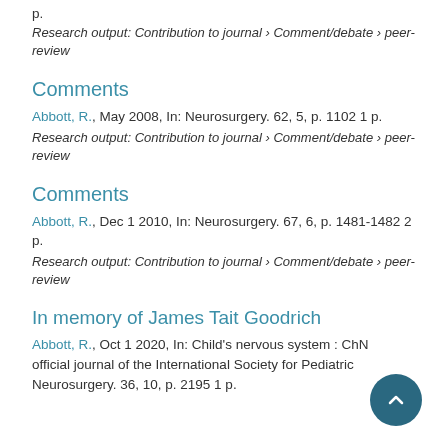p.
Research output: Contribution to journal › Comment/debate › peer-review
Comments
Abbott, R., May 2008, In: Neurosurgery. 62, 5, p. 1102 1 p.
Research output: Contribution to journal › Comment/debate › peer-review
Comments
Abbott, R., Dec 1 2010, In: Neurosurgery. 67, 6, p. 1481-1482 2 p.
Research output: Contribution to journal › Comment/debate › peer-review
In memory of James Tait Goodrich
Abbott, R., Oct 1 2020, In: Child's nervous system : ChNS : official journal of the International Society for Pediatric Neurosurgery. 36, 10, p. 2195 1 p.